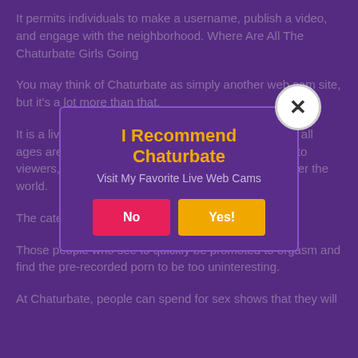It permits individuals to make a username, publish a video, and engage with the neighborhood. Where Are All The Chaturbate Girls Going
You may think of Chaturbate as simply another web cam site, but it's a lot more than that.
It is a live video cam sex chat website where users of all ages are able to relay their own individual web cams to viewers, and engage in real time with strangers all over the world.
The category of Chaturbate viewers is quite diverse.
Those people who see to quickly be promoted to orgasm and find the pre-recorded porn to be too uninteresting.
At Chaturbate, people can spend for sex shows that they will
[Figure (other): Modal dialog overlay with title 'I Recommend Chaturbate', subtitle 'Visit My Favorite Live Web Cams', and two buttons: 'No' (pink/red) and 'Yes!' (yellow/orange). A close button (X) appears in the top-right corner of the modal.]